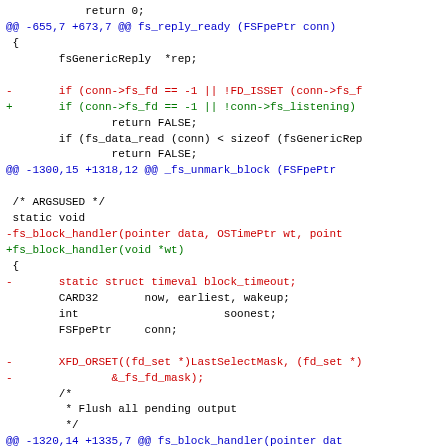[Figure (screenshot): A unified diff / code patch displayed with syntax highlighting. Black text for context lines, red for removed lines (prefixed with -), green for added lines (prefixed with +), and blue for diff hunk headers (@@...@@). Shows changes to fs_reply_ready and fs_block_handler functions.]